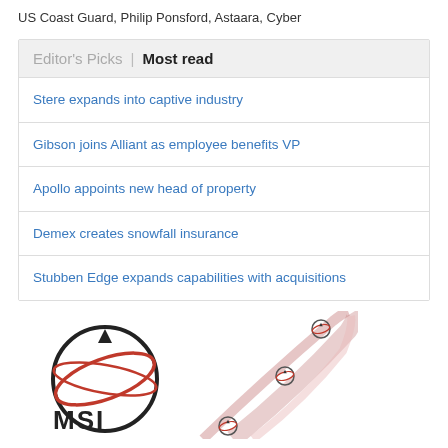US Coast Guard, Philip Ponsford, Astaara, Cyber
Editor's Picks | Most read
Stere expands into captive industry
Gibson joins Alliant as employee benefits VP
Apollo appoints new head of property
Demex creates snowfall insurance
Stubben Edge expands capabilities with acquisitions
[Figure (logo): MSI logo with globe graphic and decorative swirling ribbon design in pink/red tones]